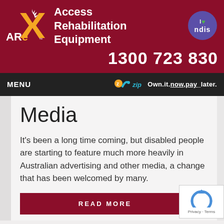[Figure (logo): Access Rehabilitation Equipment (ARE) logo with stylized figure and text, plus NDIS badge. Header with dark red/maroon background showing company name and phone number 1300 723 830.]
MENU   zip Own it now, pay later.
Media
It's been a long time coming, but disabled people are starting to feature much more heavily in Australian advertising and other media, a change that has been welcomed by many.
READ MORE